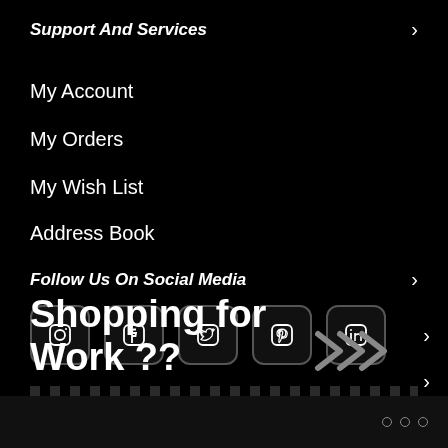Support And Services
My Account
My Orders
My Wish List
Address Book
Follow Us On Social Media
[Figure (infographic): Five social media icons in rounded square buttons: Instagram, Facebook, Twitter, Pinterest, LinkedIn]
Shopping for Work ??
o o o